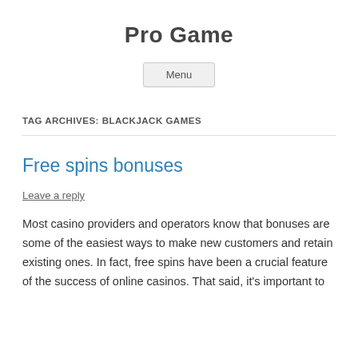Pro Game
Menu
TAG ARCHIVES: BLACKJACK GAMES
Free spins bonuses
Leave a reply
Most casino providers and operators know that bonuses are some of the easiest ways to make new customers and retain existing ones. In fact, free spins have been a crucial feature of the success of online casinos. That said, it's important to